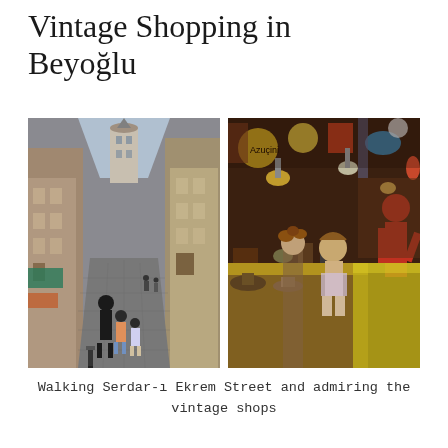Vintage Shopping in Beyoğlu
[Figure (photo): Two side-by-side photos: left shows people walking on Serdar-ı Ekrem Street in Beyoğlu with the Galata Tower visible in the background; right shows a child and adult browsing a colorful vintage shop filled with eclectic items, lamps, and red mannequins.]
Walking Serdar-ı Ekrem Street and admiring the vintage shops